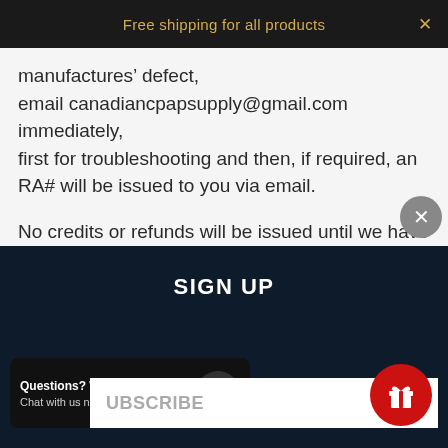Free shipping for all products
manufactures' defect, email canadiancpapsupply@gmail.com immediately, first for troubleshooting and then, if required, an RA# will be issued to you via email.
No credits or refunds will be issued until we have received the products into our facilities and have been examined.
All C-PAP, BiPAP, APAP, and Humidifiers are considered medical equipment and cannot be returned once the parcel has been opened, whether
SIGN UP
UBSCRIBE
Questions? We can help.
Chat with us now.